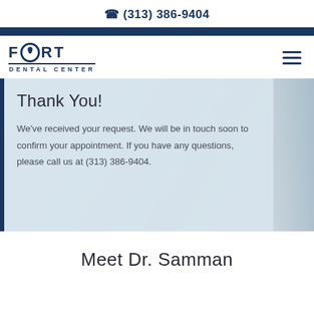(313) 386-9404
[Figure (logo): Fort Dental Center logo with tooth icon inside letter O]
Thank You!
We've received your request. We will be in touch soon to confirm your appointment. If you have any questions, please call us at (313) 386-9404.
Meet Dr. Samman